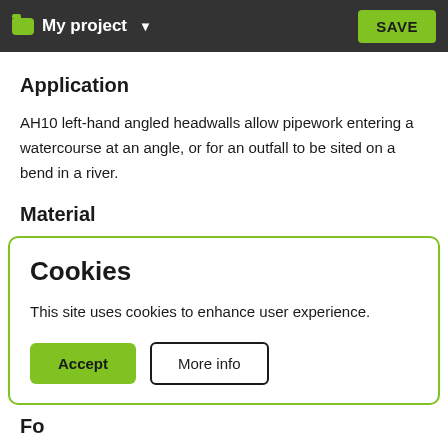My project   SAVE
Application
AH10 left-hand angled headwalls allow pipework entering a watercourse at an angle, or for an outfall to be sited on a bend in a river.
Material
Cookies
This site uses cookies to enhance user experience.
Accept   More info